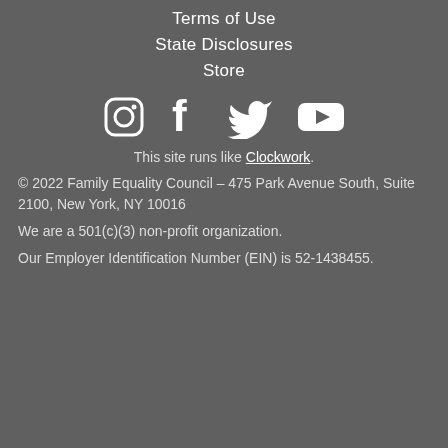Terms of Use
State Disclosures
Store
[Figure (infographic): Row of four social media icons: Instagram, Facebook, Twitter, YouTube]
This site runs like Clockwork.
© 2022 Family Equality Council – 475 Park Avenue South, Suite 2100, New York, NY 10016
We are a 501(c)(3) non-profit organization.
Our Employer Identification Number (EIN) is 52-1438455.